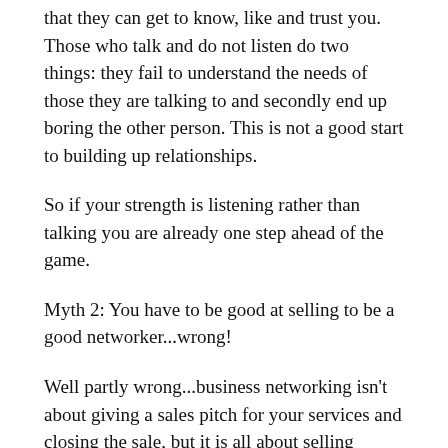that they can get to know, like and trust you. Those who talk and do not listen do two things: they fail to understand the needs of those they are talking to and secondly end up boring the other person. This is not a good start to building up relationships.
So if your strength is listening rather than talking you are already one step ahead of the game.
Myth 2: You have to be good at selling to be a good networker...wrong!
Well partly wrong...business networking isn't about giving a sales pitch for your services and closing the sale, but it is all about selling yourself. This means that when you go to a networking event you need to relax and be yourself, then people will see the real you. If you start pretending to be someone you aren't then others will see through this facade and